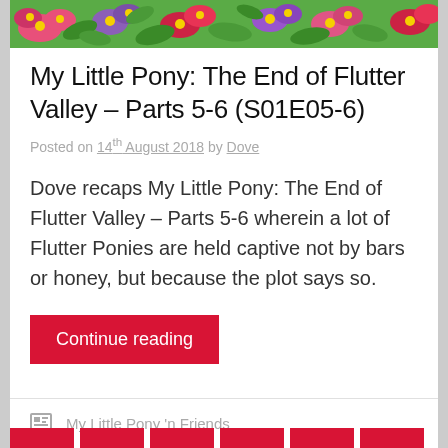[Figure (illustration): Colorful floral illustration with flowers and green leaves at top of card]
My Little Pony: The End of Flutter Valley – Parts 5-6 (S01E05-6)
Posted on 14th August 2018 by Dove
Dove recaps My Little Pony: The End of Flutter Valley – Parts 5-6 wherein a lot of Flutter Ponies are held captive not by bars or honey, but because the plot says so.
Continue reading
My Little Pony 'n Friends
Leave a comment